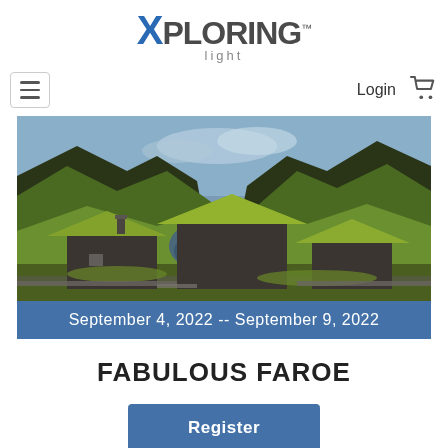[Figure (logo): Xploring light logo with blue X and dark grey text]
[Figure (other): Navigation bar with hamburger menu, Login text, and shopping cart icon]
[Figure (photo): Landscape photo of Faroe Islands showing grass-roofed stone houses in the foreground with green mountains and a fjord in the background]
September 4, 2022 -- September 9, 2022
FABULOUS FAROE
Register